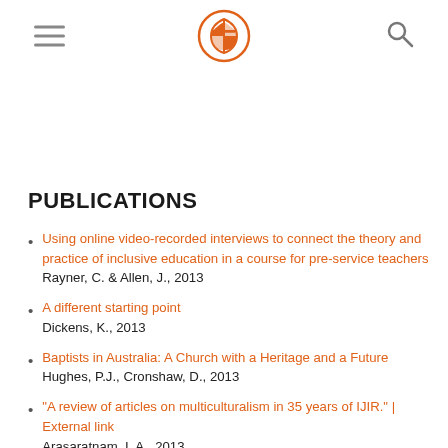Navigation header with hamburger menu, logo, and search icon
PUBLICATIONS
Using online video-recorded interviews to connect the theory and practice of inclusive education in a course for pre-service teachers
Rayner, C. & Allen, J., 2013
A different starting point
Dickens, K., 2013
Baptists in Australia: A Church with a Heritage and a Future
Hughes, P.J., Cronshaw, D., 2013
"A review of articles on multiculturalism in 35 years of IJIR." | External link
Arasaratnam, I. A., 2013